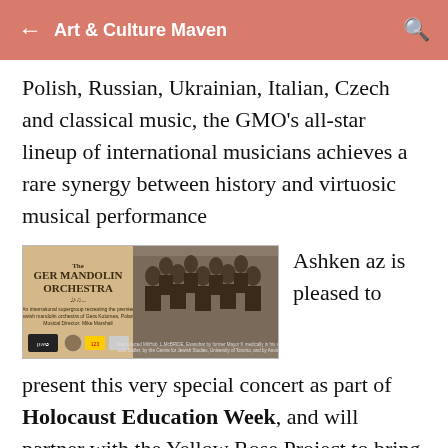Art & Culture Maven
Polish, Russian, Ukrainian, Italian, Czech and classical music, the GMO's all-star lineup of international musicians achieves a rare synergy between history and virtuosic musical performance
[Figure (photo): The Ger Mandolin Orchestra promotional image featuring a historical black and white group photo of musicians with mandolins, alongside text about the orchestra.]
Ashkenaz is pleased to present this very special concert as part of Holocaust Education Week, and will partner with the Yellow Rose Project to bring hundreds of